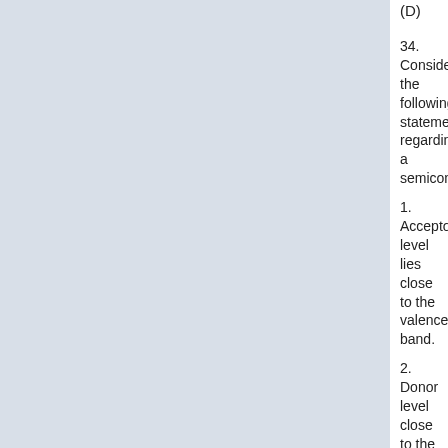(D)
34. Consider the following statements regarding a semiconductor
1. Acceptor level lies close to the valence band.
2. Donor level close to the valence